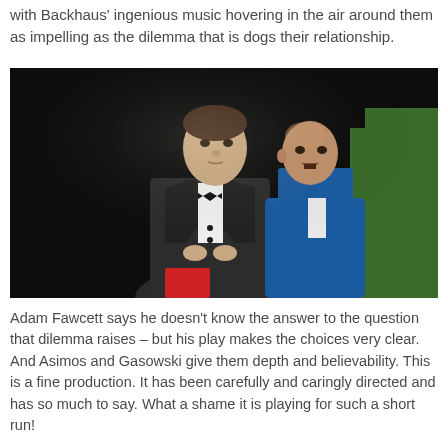with Backhaus' ingenious music hovering in the air around them as impelling as the dilemma that is dogs their relationship.
[Figure (photo): Two men on a dark stage: one in a dark tuxedo with bow tie in the foreground, and another bald man in a bright blue suit behind him. Red prop visible at bottom left. Green hedge-like set piece visible at right.]
Adam Fawcett says he doesn't know the answer to the question that dilemma raises – but his play makes the choices very clear. And Asimos and Gasowski give them depth and believability. This is a fine production. It has been carefully and caringly directed and has so much to say. What a shame it is playing for such a short run!